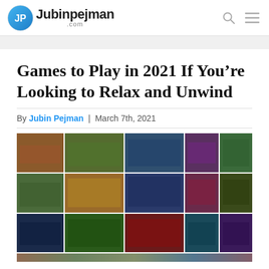Jubinpejman.com
Games to Play in 2021 If You’re Looking to Relax and Unwind
By Jubin Pejman | March 7th, 2021
[Figure (photo): Mosaic collage of video game screenshots arranged in a 5-column grid showing multiple rows of game artwork including adventure, action, and various gaming genre scenes]